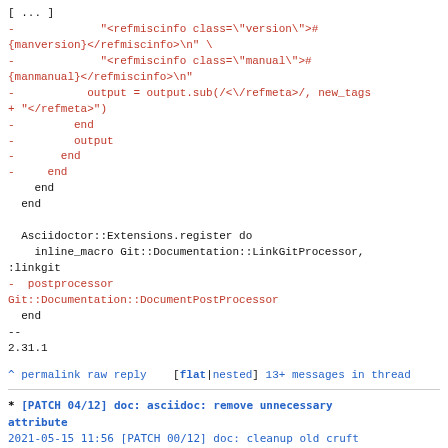[ ... ]
-             "<refmiscinfo class=\"version\">#
{manversion}</refmiscinfo>\n" \
-             "<refmiscinfo class=\"manual\">#
{manmanual}</refmiscinfo>\n"
-           output = output.sub(/<\/refmeta>/, new_tags
+ "</refmeta>")
-         end
-         output
-       end
-     end
    end
  end

  Asciidoctor::Extensions.register do
    inline_macro Git::Documentation::LinkGitProcessor,
:linkgit
-  postprocessor
Git::Documentation::DocumentPostProcessor
  end
--
2.31.1
^ permalink raw reply   [flat|nested] 13+ messages in thread
* [PATCH 04/12] doc: asciidoc: remove unnecessary attribute
  2021-05-15 11:56 [PATCH 00/12] doc: cleanup old cruft